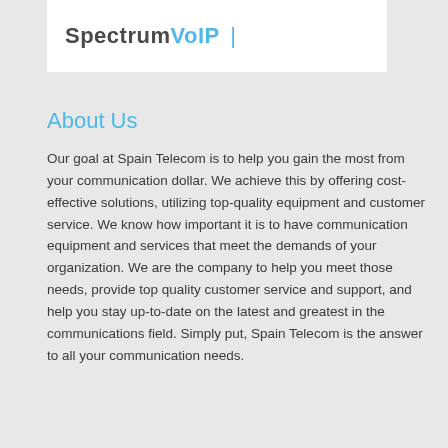[Figure (logo): SpectrumVoIP logo with dark text 'Spectrum' and light blue 'VoIP' followed by a pipe character, on a white background]
About Us
Our goal at Spain Telecom is to help you gain the most from your communication dollar. We achieve this by offering cost-effective solutions, utilizing top-quality equipment and customer service. We know how important it is to have communication equipment and services that meet the demands of your organization. We are the company to help you meet those needs, provide top quality customer service and support, and help you stay up-to-date on the latest and greatest in the communications field. Simply put, Spain Telecom is the answer to all your communication needs.